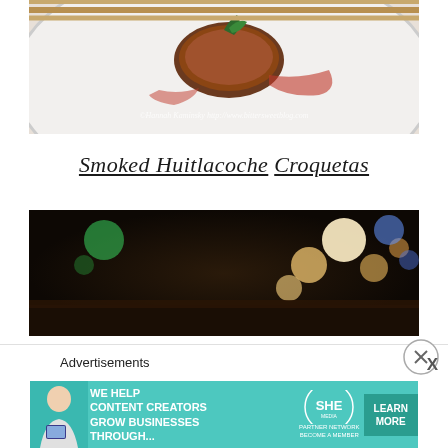[Figure (photo): Close-up food photography of a plated dish on a white plate with sauce, viewed from above. Watermark text reads: ©Hannah Kaminsky http://www.bittersweet blog.com]
Smoked Huitlacoche Croquetas
[Figure (photo): Blurred/bokeh restaurant interior background with warm and colorful lights]
Advertisements
[Figure (infographic): Advertisement banner: 'We help content creators grow businesses through...' SHE Media Partner Network — Learn More button]